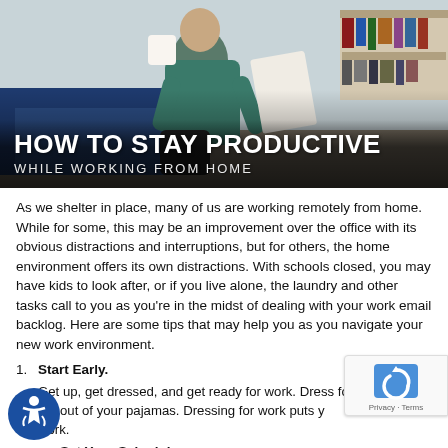[Figure (photo): Hero image of a man sitting on a couch holding papers and a coffee cup, with text overlay 'HOW TO STAY PRODUCTIVE / WHILE WORKING FROM HOME']
HOW TO STAY PRODUCTIVE
WHILE WORKING FROM HOME
As we shelter in place, many of us are working remotely from home. While for some, this may be an improvement over the office with its obvious distractions and interruptions, but for others, the home environment offers its own distractions. With schools closed, you may have kids to look after, or if you live alone, the laundry and other tasks call to you as you're in the midst of dealing with your work email backlog. Here are some tips that may help you as you navigate your new work environment.
Start Early. Get up, get dressed, and get ready for work. Dress for comfort, but get out of your pajamas. Dressing for work puts you in the mood to work.
Set Your Schedule. Be sure your family, friends, and colleagues know your work schedule.